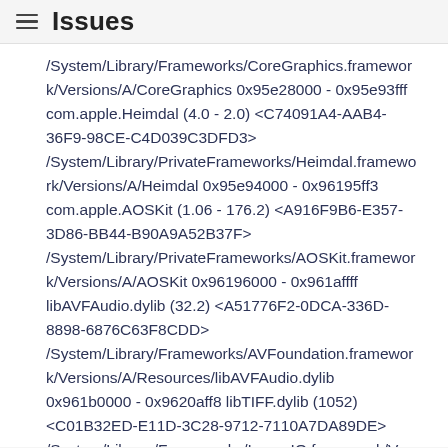Issues
/System/Library/Frameworks/CoreGraphics.framework/Versions/A/CoreGraphics 0x95e28000 - 0x95e93fff com.apple.Heimdal (4.0 - 2.0) <C74091A4-AAB4-36F9-98CE-C4D039C3DFD3> /System/Library/PrivateFrameworks/Heimdal.framework/Versions/A/Heimdal 0x95e94000 - 0x96195ff3 com.apple.AOSKit (1.06 - 176.2) <A916F9B6-E357-3D86-BB44-B90A9A52B37F> /System/Library/PrivateFrameworks/AOSKit.framework/Versions/A/AOSKit 0x96196000 - 0x961affff libAVFAudio.dylib (32.2) <A51776F2-0DCA-336D-8898-6876C63F8CDD> /System/Library/Frameworks/AVFoundation.framework/Versions/A/Resources/libAVFAudio.dylib 0x961b0000 - 0x9620aff8 libTIFF.dylib (1052) <C01B32ED-E11D-3C28-9712-7110A7DA89DE> /System/Library/Frameworks/ImageIO.framework/Versions/A/Resources/libTIFF.dylib 0x9620b000 - 0x96213ff7 libCGCMS.A.dylib (599.35.15) <7B86C7E4-8D86-3B11-955C-674B34B6E9A3>